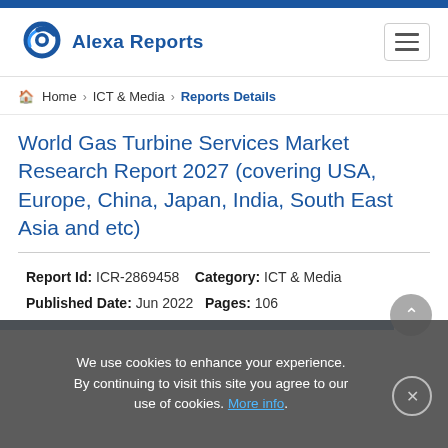Alexa Reports
Home > ICT & Media > Reports Details
World Gas Turbine Services Market Research Report 2027 (covering USA, Europe, China, Japan, India, South East Asia and etc)
Report Id: ICR-2869458  Category: ICT & Media  Published Date: Jun 2022  Pages: 106
We use cookies to enhance your experience. By continuing to visit this site you agree to our use of cookies. More info.